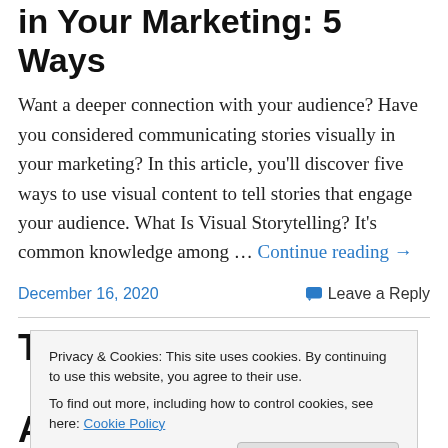in Your Marketing: 5 Ways
Want a deeper connection with your audience? Have you considered communicating stories visually in your marketing? In this article, you'll discover five ways to use visual content to tell stories that engage your audience. What Is Visual Storytelling? It's common knowledge among … Continue reading →
December 16, 2020
Leave a Reply
The hidden text title (partially visible)
Privacy & Cookies: This site uses cookies. By continuing to use this website, you agree to their use.
To find out more, including how to control cookies, see here: Cookie Policy
Close and accept
Amazon Keywords for Books: